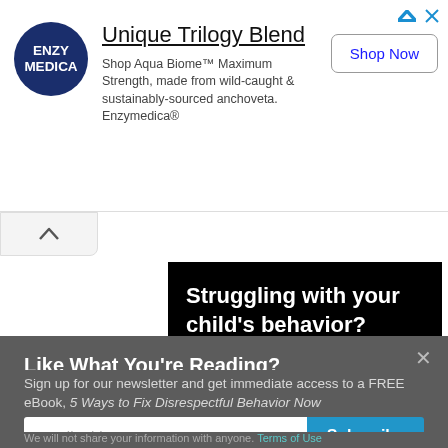[Figure (screenshot): Enzymedica ad banner with logo, 'Unique Trilogy Blend' heading, product description, and 'Shop Now' button]
Unique Trilogy Blend
Shop Aqua Biome™ Maximum Strength, made from wild-caught & sustainably-sourced anchoveta. Enzymedica®
Shop Now
Struggling with your child's behavior?
Get Your FREE
Like What You're Reading?
Sign up for our newsletter and get immediate access to a FREE eBook, 5 Ways to Fix Disrespectful Behavior Now
Email address
Subscribe
We will not share your information with anyone. Terms of Use